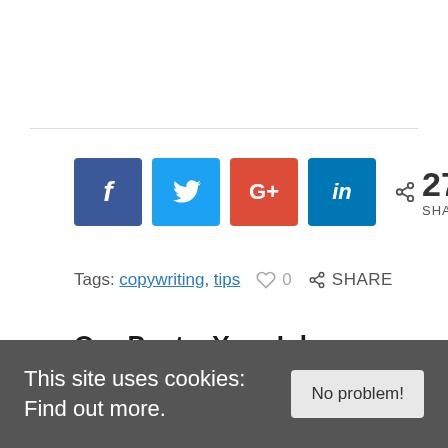[Figure (infographic): Social sharing buttons: Facebook (blue), Twitter (light blue), Google+ (red), LinkedIn (blue), with share count of 27 SHARES]
Tags: copywriting, tips   ♡ 0   < SHARE
Our Posts, Your Inbox, Weekly.
Subscribe:
This site uses cookies: Find out more.